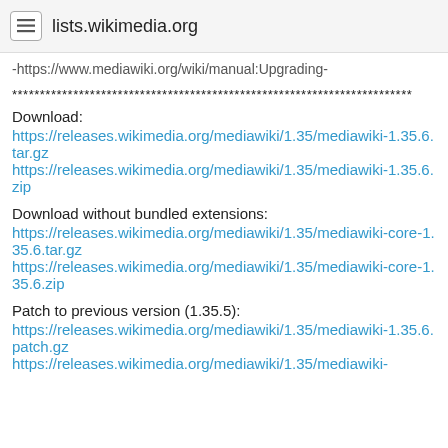lists.wikimedia.org
-https://www.mediawiki.org/wiki/manual:Upgrading-
************************************************************************
Download:
https://releases.wikimedia.org/mediawiki/1.35/mediawiki-1.35.6.tar.gz
https://releases.wikimedia.org/mediawiki/1.35/mediawiki-1.35.6.zip
Download without bundled extensions:
https://releases.wikimedia.org/mediawiki/1.35/mediawiki-core-1.35.6.tar.gz
https://releases.wikimedia.org/mediawiki/1.35/mediawiki-core-1.35.6.zip
Patch to previous version (1.35.5):
https://releases.wikimedia.org/mediawiki/1.35/mediawiki-1.35.6.patch.gz
https://releases.wikimedia.org/mediawiki/1.35/mediawiki-